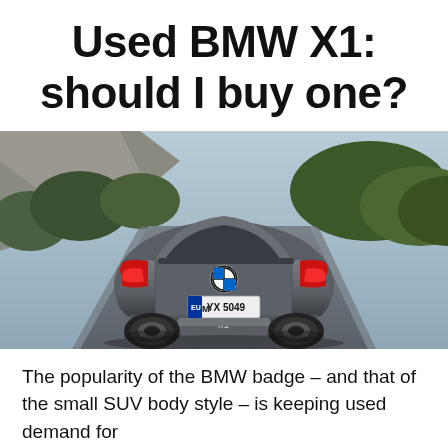Used BMW X1: should I buy one?
[Figure (photo): Rear three-quarter view of a grey BMW X1 SUV driving on a winding road with trees and rocky hillside in the background. The number plate reads M-YX 5049.]
The popularity of the BMW badge – and that of the small SUV body style – is keeping used demand for BMW X1 at high levels, a factor that should be considered by...